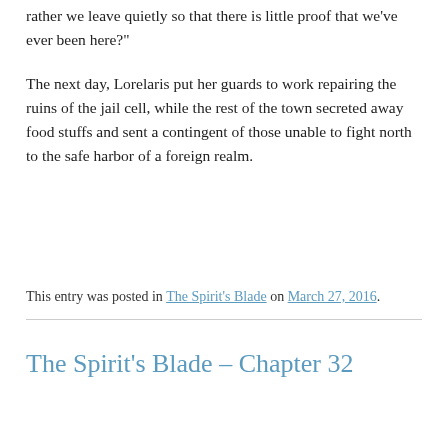rather we leave quietly so that there is little proof that we’ve ever been here?”
The next day, Lorelaris put her guards to work repairing the ruins of the jail cell, while the rest of the town secreted away food stuffs and sent a contingent of those unable to fight north to the safe harbor of a foreign realm.
This entry was posted in The Spirit's Blade on March 27, 2016.
The Spirit’s Blade – Chapter 32